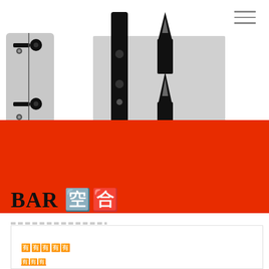[Figure (illustration): Stylized illustration of musical instruments (guitar tuning pegs on left, clarinet/wind instrument parts in center on grey background)]
BAR 🈳🈴
🈶🈶🈶🈶🈶
🈶🈶🈶